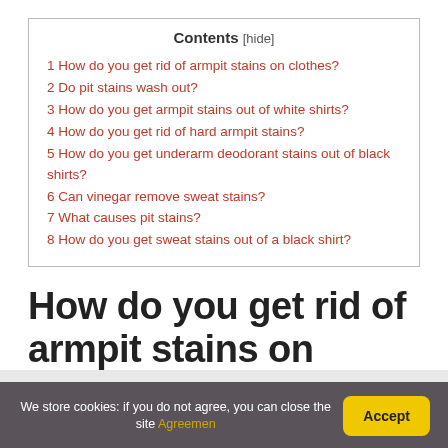Contents [hide]
1 How do you get rid of armpit stains on clothes?
2 Do pit stains wash out?
3 How do you get armpit stains out of white shirts?
4 How do you get rid of hard armpit stains?
5 How do you get underarm deodorant stains out of black shirts?
6 Can vinegar remove sweat stains?
7 What causes pit stains?
8 How do you get sweat stains out of a black shirt?
How do you get rid of armpit stains on
We store cookies: if you do not agree, you can close the site Agreemen